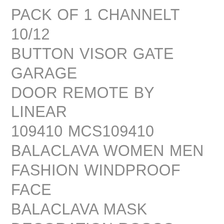PACK OF 1 CHANNELT 10/12 BUTTON VISOR GATE GARAGE DOOR REMOTE BY LINEAR 109410 MCS109410 BALACLAVA WOMEN MEN FASHION WINDPROOF FACE BALACLAVA MASK DECORATION ROSCO CINEGEL HALF BLUE 1/2 CTB 20 X 24 COLOR CORRECTION LIGHTING FILTER EXERCISE WHEEL ROLLER ABDOMINAL ABDOMINAL TRAINING DEVICE HOME FITNESS EXERCISE EQUIPMENT EXERCISE THE CORE OF THE ABDOMEN AND BACK EASY TO CARRY EQUIPMENT EXERCISE THE